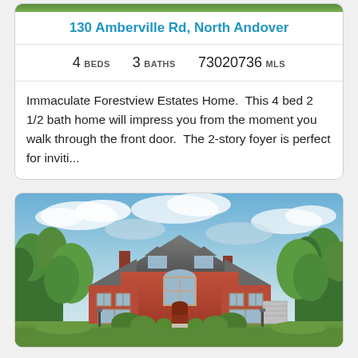130 Amberville Rd, North Andover
4 BEDS   3 BATHS   73020736 MLS
Immaculate Forestview Estates Home.  This 4 bed 2 1/2 bath home will impress you from the moment you walk through the front door.  The 2-story foyer is perfect for inviti...
[Figure (photo): Exterior photo of a large red brick colonial-style house with trees and cloudy sky]